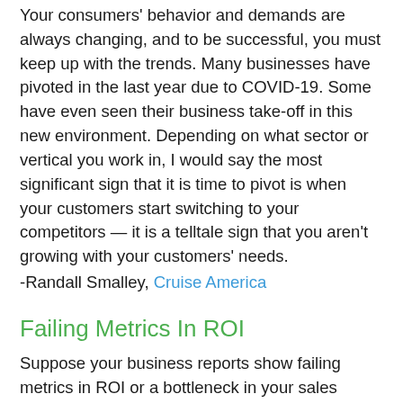Your consumers' behavior and demands are always changing, and to be successful, you must keep up with the trends. Many businesses have pivoted in the last year due to COVID-19. Some have even seen their business take-off in this new environment. Depending on what sector or vertical you work in, I would say the most significant sign that it is time to pivot is when your customers start switching to your competitors — it is a telltale sign that you aren't growing with your customers' needs.
-Randall Smalley, Cruise America
Failing Metrics In ROI
Suppose your business reports show failing metrics in ROI or a bottleneck in your sales funnel. In that case,